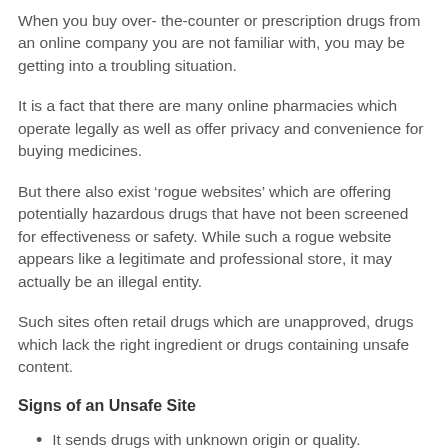When you buy over- the-counter or prescription drugs from an online company you are not familiar with, you may be getting into a troubling situation.
It is a fact that there are many online pharmacies which operate legally as well as offer privacy and convenience for buying medicines.
But there also exist ‘rogue websites’ which are offering potentially hazardous drugs that have not been screened for effectiveness or safety. While such a rogue website appears like a legitimate and professional store, it may actually be an illegal entity.
Such sites often retail drugs which are unapproved, drugs which lack the right ingredient or drugs containing unsafe content.
Signs of an Unsafe Site
It sends drugs with unknown origin or quality.